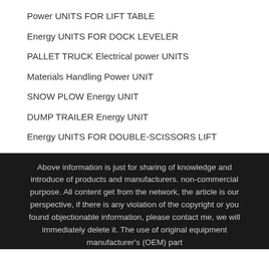Power UNITS FOR LIFT TABLE
Energy UNITS FOR DOCK LEVELER
PALLET TRUCK Electrical power UNITS
Materials Handling Power UNIT
SNOW PLOW Energy UNIT
DUMP TRAILER Energy UNIT
Energy UNITS FOR DOUBLE-SCISSORS LIFT
Above information is just for sharing of knowledge and introduce of products and manufacturers. non-commercial purpose. All content get from the network, the article is our perspective, if there is any violation of the copyright or you found objectionable information, please contact me, we will immediately delete it. The use of original equipment manufacturer's (OEM) part